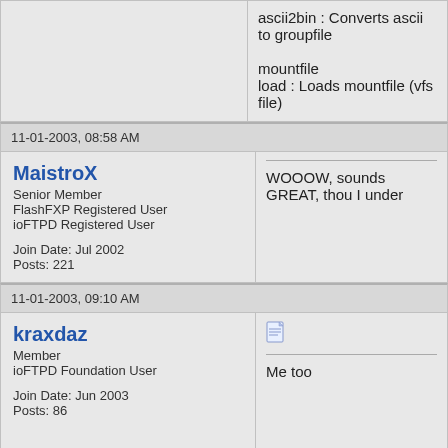ascii2bin : Converts ascii to groupfile

mountfile
load : Loads mountfile (vfs file)
11-01-2003, 08:58 AM
MaistroX
Senior Member
FlashFXP Registered User
ioFTPD Registered User

Join Date: Jul 2002
Posts: 221
WOOOW, sounds GREAT, thou I under
11-01-2003, 09:10 AM
kraxdaz
Member
ioFTPD Foundation User

Join Date: Jun 2003
Posts: 86
Me too